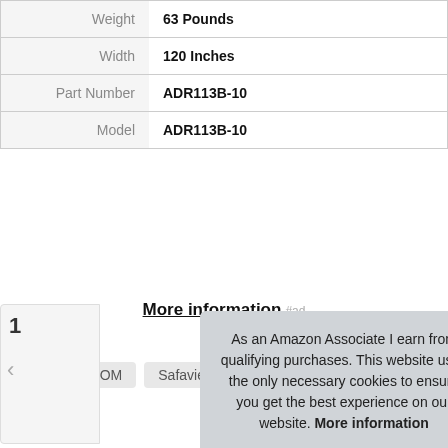| Attribute | Value |
| --- | --- |
| Weight | 63 Pounds |
| Width | 120 Inches |
| Part Number | ADR113B-10 |
| Model | ADR113B-10 |
More information #ad
Tags: nuLOOM Safavieh
As an Amazon Associate I earn from qualifying purchases. This website uses the only necessary cookies to ensure you get the best experience on our website. More information